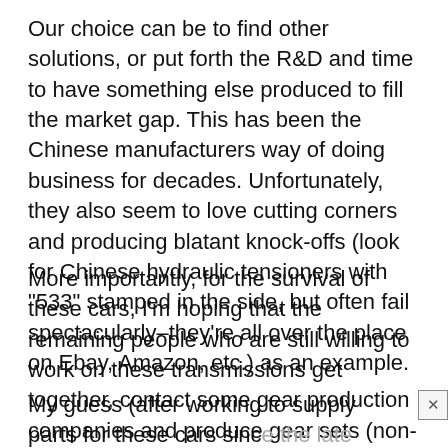Our choice can be to find other solutions, or put forth the R&D and time to have something else produced to fill the market gap. This has been the Chinese manufacturers way of doing business for decades. Unfortunately, they also seem to love cutting corners and producing blatant knock-offs (look for Chinese hydraulic tensioners with "533" stamped in the side, but often fail spectacularly–they're all over the place on Ebay, Amazon, etc.) as an example.
More importantly, for the survival of these cars, I'm hoping that the remaining people who are still willing to work on these transmissions get together, contact some gear production companies and produce gear sets (non-dog engagement) to keep these cars running.
My guess (after working to supply parts for these cars since the late '90's) is that this is going to be the biggest hurdle these cars will ever see.